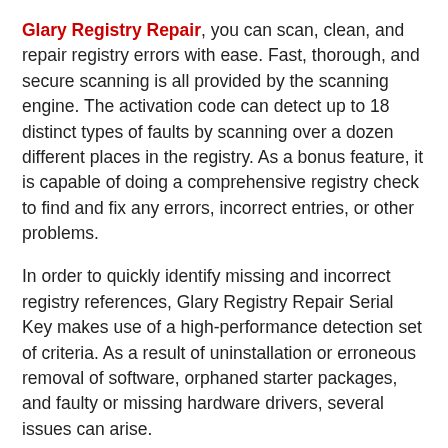Glary Registry Repair, you can scan, clean, and repair registry errors with ease. Fast, thorough, and secure scanning is all provided by the scanning engine. The activation code can detect up to 18 distinct types of faults by scanning over a dozen different places in the registry. As a bonus feature, it is capable of doing a comprehensive registry check to find and fix any errors, incorrect entries, or other problems.
In order to quickly identify missing and incorrect registry references, Glary Registry Repair Serial Key makes use of a high-performance detection set of criteria. As a result of uninstallation or erroneous removal of software, orphaned starter packages, and faulty or missing hardware drivers, several issues can arise.
In order to undo any modifications made to the Registry, a corresponding Undo file is created for each one. You can undo any changes made to the registry by clicking 'Restore previous repairs' during a free registry repair. Registry Cleaner utilizes a 'ignore list,' which contains entries that are disregarded when scanning,